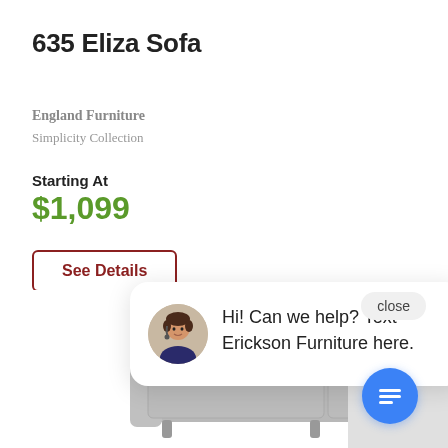635 Eliza Sofa
England Furniture
Simplicity Collection
Starting At
$1,099
See Details
close
Hi! Can we help? Text Erickson Furniture here.
[Figure (illustration): Gray upholstered sofa with two decorative pillows, viewed from the front]
[Figure (illustration): Blue circular chat button with message/lines icon]